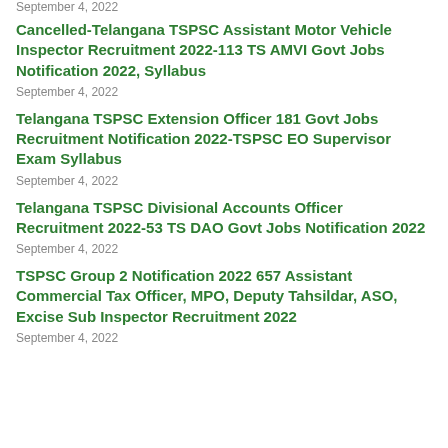September 4, 2022
Cancelled-Telangana TSPSC Assistant Motor Vehicle Inspector Recruitment 2022-113 TS AMVI Govt Jobs Notification 2022, Syllabus
September 4, 2022
Telangana TSPSC Extension Officer 181 Govt Jobs Recruitment Notification 2022-TSPSC EO Supervisor Exam Syllabus
September 4, 2022
Telangana TSPSC Divisional Accounts Officer Recruitment 2022-53 TS DAO Govt Jobs Notification 2022
September 4, 2022
TSPSC Group 2 Notification 2022 657 Assistant Commercial Tax Officer, MPO, Deputy Tahsildar, ASO, Excise Sub Inspector Recruitment 2022
September 4, 2022